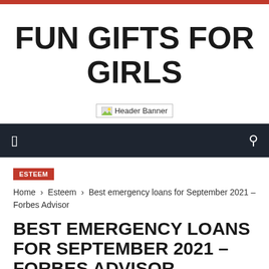FUN GIFTS FOR GIRLS
[Figure (other): Header Banner broken image placeholder with text 'Header Banner']
ESTEEM
Home › Esteem › Best emergency loans for September 2021 – Forbes Advisor
BEST EMERGENCY LOANS FOR SEPTEMBER 2021 – FORBES ADVISOR